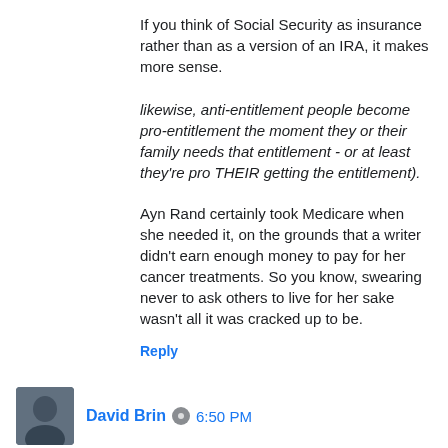If you think of Social Security as insurance rather than as a version of an IRA, it makes more sense.
likewise, anti-entitlement people become pro-entitlement the moment they or their family needs that entitlement - or at least they're pro THEIR getting the entitlement).
Ayn Rand certainly took Medicare when she needed it, on the grounds that a writer didn't earn enough money to pay for her cancer treatments. So you know, swearing never to ask others to live for her sake wasn't all it was cracked up to be.
Reply
David Brin  6:50 PM
Hans, your proposal makes a lot of sense, at first sight.